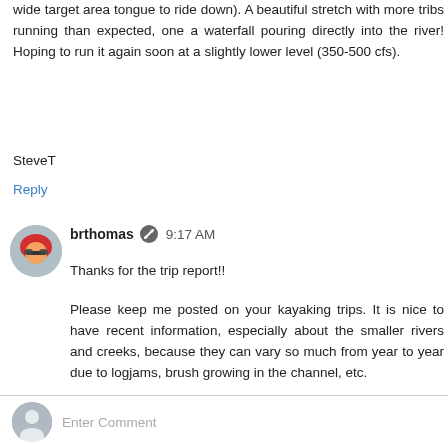wide target area tongue to ride down). A beautiful stretch with more tribs running than expected, one a waterfall pouring directly into the river! Hoping to run it again soon at a slightly lower level (350-500 cfs).
SteveT
Reply
brthomas · 9:17 AM
Thanks for the trip report!!
Please keep me posted on your kayaking trips. It is nice to have recent information, especially about the smaller rivers and creeks, because they can vary so much from year to year due to logjams, brush growing in the channel, etc.
Reply
Enter Comment